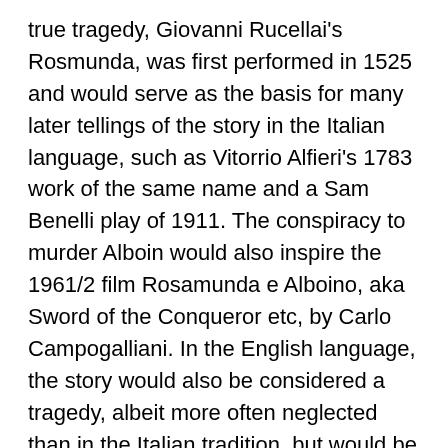true tragedy, Giovanni Rucellai's Rosmunda, was first performed in 1525 and would serve as the basis for many later tellings of the story in the Italian language, such as Vitorrio Alfieri's 1783 work of the same name and a Sam Benelli play of 1911. The conspiracy to murder Alboin would also inspire the 1961/2 film Rosamunda e Alboino, aka Sword of the Conqueror etc, by Carlo Campogalliani. In the English language, the story would also be considered a tragedy, albeit more often neglected than in the Italian tradition, but would be treated by the pre-raphaelite poet Algernon Charles Swinburne in his 1899 work Rosamund, Queen of the Lombards .
The Gepids (Latin: Gepidae; Old English: Gifð; possibly Proto-Germanic: *Gibiðaz, "giver"[1] or gepanta) were an East Germanic tribe who were closely related to the Goths.[1] The Gepids were considered in the sources to be...